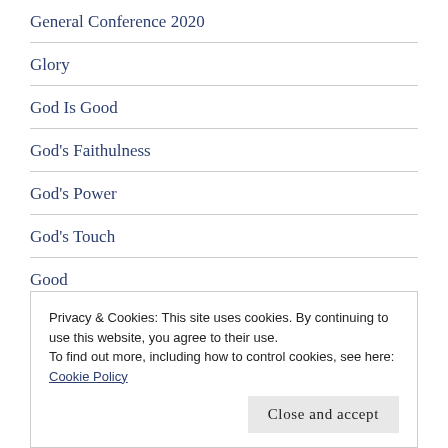General Conference 2020
Glory
God Is Good
God's Faithulness
God's Power
God's Touch
Good
Good Intentions
Good Works
Privacy & Cookies: This site uses cookies. By continuing to use this website, you agree to their use.
To find out more, including how to control cookies, see here: Cookie Policy
Close and accept